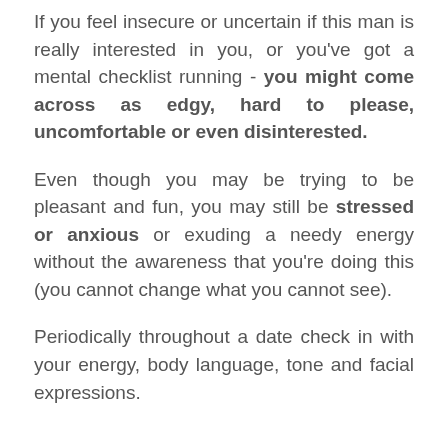If you feel insecure or uncertain if this man is really interested in you, or you've got a mental checklist running - you might come across as edgy, hard to please, uncomfortable or even disinterested.
Even though you may be trying to be pleasant and fun, you may still be stressed or anxious or exuding a needy energy without the awareness that you're doing this (you cannot change what you cannot see).
Periodically throughout a date check in with your energy, body language, tone and facial expressions.